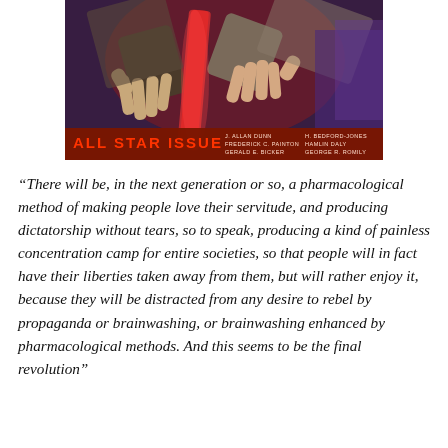[Figure (illustration): Pulp magazine cover illustration showing hands gripping a red weapon or device. Banner at the bottom reads 'ALL STAR ISSUE' with author names including J. Allan Dunn, Frederick C. Painton, H. Bedford-Jones, Hamlin Daly, and others.]
“There will be, in the next generation or so, a pharmacological method of making people love their servitude, and producing dictatorship without tears, so to speak, producing a kind of painless concentration camp for entire societies, so that people will in fact have their liberties taken away from them, but will rather enjoy it, because they will be distracted from any desire to rebel by propaganda or brainwashing, or brainwashing enhanced by pharmacological methods. And this seems to be the final revolution”